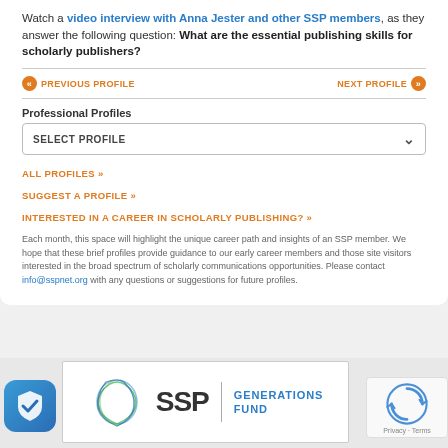Watch a video interview with Anna Jester and other SSP members, as they answer the following question: What are the essential publishing skills for scholarly publishers?
« PREVIOUS PROFILE
NEXT PROFILE »
Professional Profiles
SELECT PROFILE
ALL PROFILES »
SUGGEST A PROFILE »
INTERESTED IN A CAREER IN SCHOLARLY PUBLISHING? »
Each month, this space will highlight the unique career path and insights of an SSP member. We hope that these brief profiles provide guidance to our early career members and those site visitors interested in the broad spectrum of scholarly communications opportunities. Please contact info@sspnet.org with any questions or suggestions for future profiles.
[Figure (logo): SSP Generations Fund logo with geometric pentagon shape in green and blue lines]